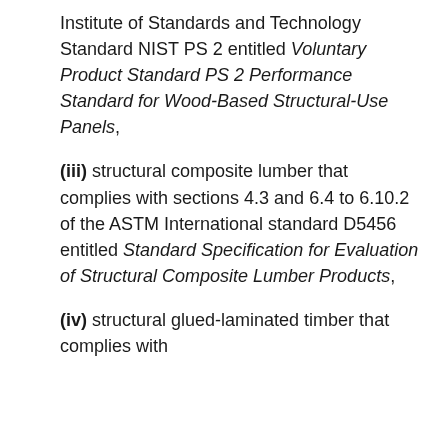Institute of Standards and Technology Standard NIST PS 2 entitled Voluntary Product Standard PS 2 Performance Standard for Wood-Based Structural-Use Panels,
(iii) structural composite lumber that complies with sections 4.3 and 6.4 to 6.10.2 of the ASTM International standard D5456 entitled Standard Specification for Evaluation of Structural Composite Lumber Products,
(iv) structural glued-laminated timber that complies with